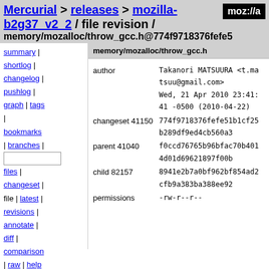Mercurial > releases > mozilla-b2g37_v2_2 / file revision / memory/mozalloc/throw_gcc.h@774f9718376fefe5
[Figure (logo): moz://a logo, black background with white text]
summary |
shortlog |
changelog |
pushlog |
graph | tags
|
bookmarks
| branches | [search input]
files |
changeset |
file | latest |
revisions |
annotate |
diff |
comparison
| raw | help
memory/mozalloc/throw_gcc.h
| author | Takanori MATSUURA <t.matsuu@gmail.com> |  |
|  | Wed, 21 Apr 2010 23:41:41 -0500 (2010-04-22) |  |
| changeset 41150 | 774f9718376fefe51b1cf25b289df9ed4cb560a3 |  |
| parent 41040 | f0ccd76765b96bfac70b4014d01d69621897f00b |  |
| child 82157 | 8941e2b7a0bf962bf854ad2cfb9a383ba388ee92 |  |
| permissions | -rw-r--r-- |  |